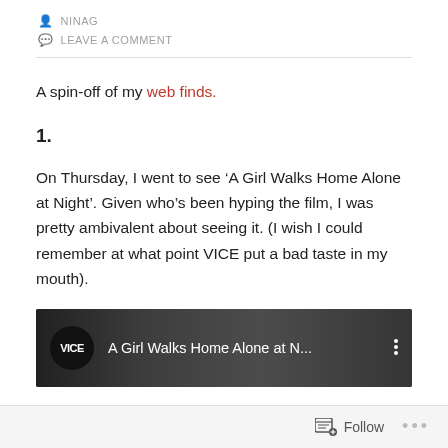NINAG
LEAVE A COMMENT
A spin-off of my web finds.
1.
On Thursday, I went to see ‘A Girl Walks Home Alone at Night’. Given who’s been hyping the film, I was pretty ambivalent about seeing it. (I wish I could remember at what point VICE put a bad taste in my mouth).
[Figure (screenshot): A YouTube-style embedded video thumbnail showing a VICE logo and the title 'A Girl Walks Home Alone at N...' with a three-dot menu icon, on a dark/greyscale background.]
Follow ...